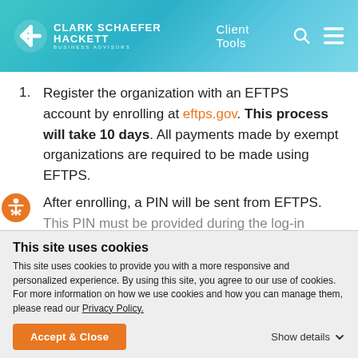[Figure (logo): Clark Schaefer Hackett Business Advisors logo with header navigation showing Client Tools, search icon, and menu icon]
Register the organization with an EFTPS account by enrolling at eftps.gov. This process will take 10 days. All payments made by exempt organizations are required to be made using EFTPS.
After enrolling, a PIN will be sent from EFTPS. This PIN must be provided during the log-in...
This site uses cookies
This site uses cookies to provide you with a more responsive and personalized experience. By using this site, you agree to our use of cookies. For more information on how we use cookies and how you can manage them, please read our Privacy Policy.